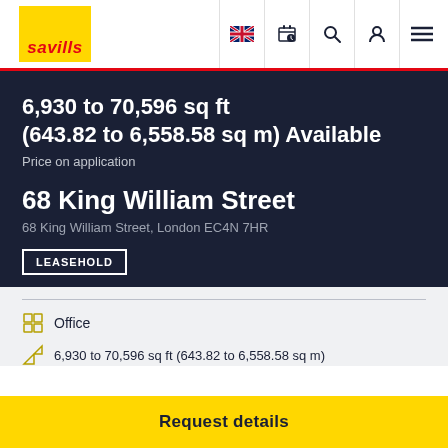savills
6,930 to 70,596 sq ft (643.82 to 6,558.58 sq m) Available
Price on application
68 King William Street
68 King William Street, London EC4N 7HR
LEASEHOLD
Office
6,930 to 70,596 sq ft (643.82 to 6,558.58 sq m)
Request details